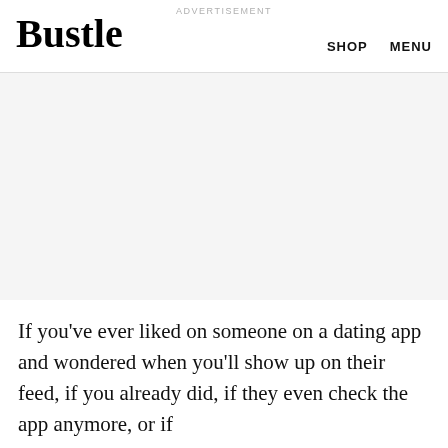ADVERTISEMENT
Bustle
SHOP   MENU
[Figure (other): Advertisement placeholder block with light gray background]
If you've ever liked on someone on a dating app and wondered when you'll show up on their feed, if you already did, if they even check the app anymore, or if